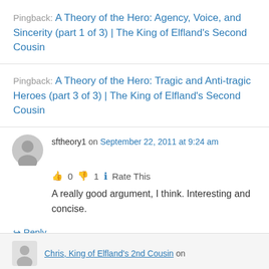Pingback: A Theory of the Hero: Agency, Voice, and Sincerity (part 1 of 3) | The King of Elfland's Second Cousin
Pingback: A Theory of the Hero: Tragic and Anti-tragic Heroes (part 3 of 3) | The King of Elfland's Second Cousin
sftheory1 on September 22, 2011 at 9:24 am
👍 0 👎 1 ℹ Rate This
A really good argument, I think. Interesting and concise.
↪ Reply
Chris, King of Elfland's 2nd Cousin on